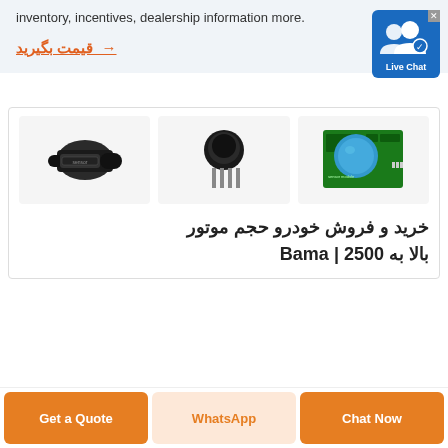inventory, incentives, dealership information more.
→ قیمت بگیرید
[Figure (screenshot): Live Chat button with two person icons and a blue background]
[Figure (photo): Three electronic sensor components: a flow sensor, a gas sensor, and a circuit board with blue sensor dome]
خرید و فروش خودرو حجم موتور بالا به 2500 | Bama
Get a Quote
WhatsApp
Chat Now